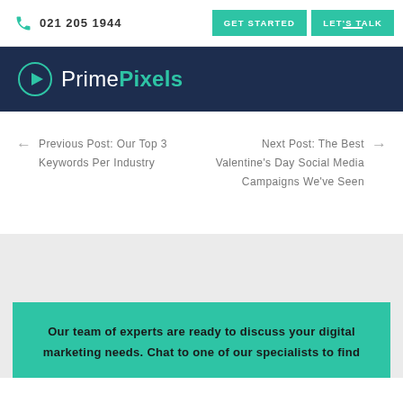021 205 1944 | GET STARTED | LET'S TALK
[Figure (logo): PrimePixels logo with teal play button icon on dark navy background]
← Previous Post: Our Top 3 Keywords Per Industry
Next Post: The Best Valentine's Day Social Media Campaigns We've Seen →
Our team of experts are ready to discuss your digital marketing needs. Chat to one of our specialists to find